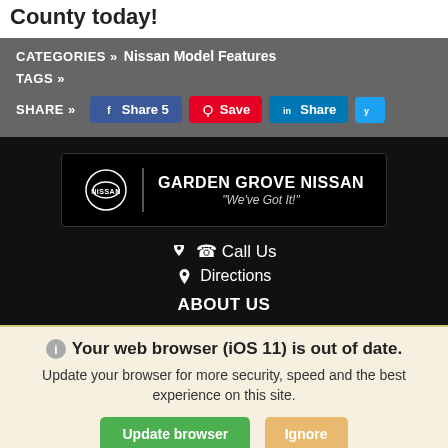County today!
CATEGORIES » Nissan Model Features
TAGS »
SHARE » Share 5  Save  Share
[Figure (logo): Garden Grove Nissan dealer logo banner with Nissan logo, vertical divider, and text: GARDEN GROVE NISSAN 'We've Got It!']
Call Us
Directions
ABOUT US
Your web browser (iOS 11) is out of date. Update your browser for more security, speed and the best experience on this site.
Update browser  Ignore